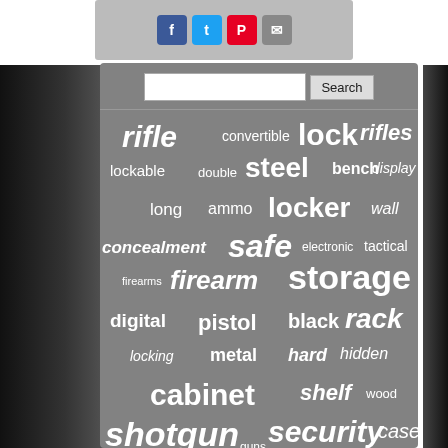[Figure (screenshot): Social sharing buttons: Facebook, Twitter, Pinterest, Email]
[Figure (screenshot): Search bar with text input and Search button, followed by a word cloud of gun storage related terms including: rifle, lock, rifles, convertible, lockable, double, steel, bench, display, long, ammo, locker, wall, concealment, safe, electronic, tactical, firearms, firearm, storage, digital, pistol, black, rack, locking, metal, hard, hidden, cabinet, shelf, wood, shotgun, security, case, guns]